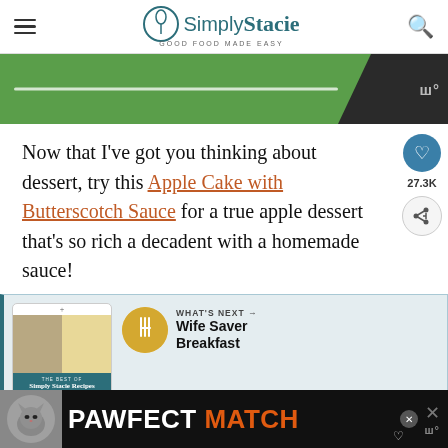Simply Stacie — GOOD FOOD MADE EASY
[Figure (photo): Green advertisement banner with white horizontal line and logo watermark on right]
Now that I've got you thinking about dessert, try this Apple Cake with Butterscotch Sauce for a true apple dessert that's so rich a decadent with a homemade sauce!
[Figure (infographic): Simply Stacie recipe book promo card with food photos and What's Next: Wife Saver Breakfast panel]
[Figure (photo): Bottom advertisement banner: PAWFECT MATCH with cat photo on black background]